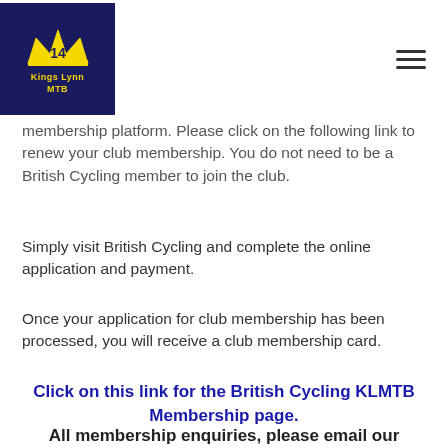Kings Lynn MTB — logo and navigation header
membership platform. Please click on the following link to renew your club membership. You do not need to be a British Cycling member to join the club.
Simply visit British Cycling and complete the online application and payment.
Once your application for club membership has been processed, you will receive a club membership card.
Click on this link for the British Cycling KLMTB Membership page.
All membership enquiries, please email our Membership Secretary on